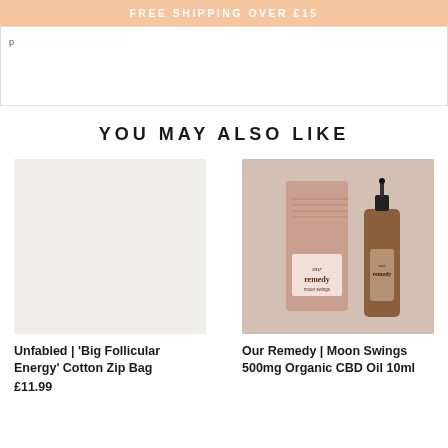FREE SHIPPING OVER £15
YOU MAY ALSO LIKE
[Figure (photo): Unfabled 'Big Follicular Energy' Cotton Zip Bag product image - light grey/beige background, empty]
Unfabled | 'Big Follicular Energy' Cotton Zip Bag
£11.99
[Figure (photo): Our Remedy Moon Swings 500mg Organic CBD Oil 10ml - pink/blush product box and amber glass dropper bottle on light background]
Our Remedy | Moon Swings 500mg Organic CBD Oil 10ml